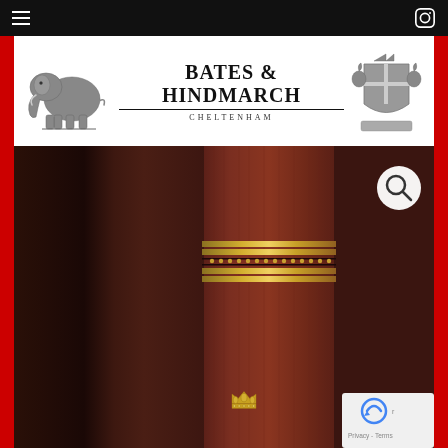Navigation bar with hamburger menu and Instagram icon
[Figure (logo): Bates & Hindmarch Cheltenham logo with elephant illustration on left, coat of arms crest on right, and brand name text in center]
[Figure (photo): Close-up photograph of a leather-bound book spine showing dark brown leather with gold gilt bands and decorative gold crown emblem at the bottom]